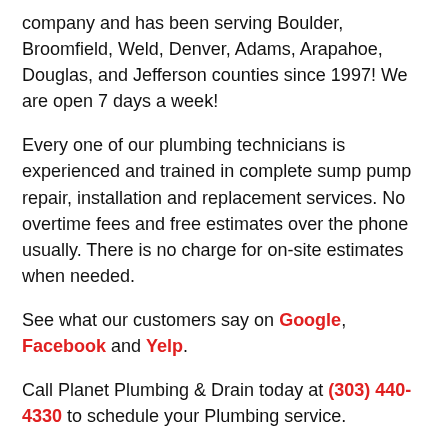company and has been serving Boulder, Broomfield, Weld, Denver, Adams, Arapahoe, Douglas, and Jefferson counties since 1997! We are open 7 days a week!
Every one of our plumbing technicians is experienced and trained in complete sump pump repair, installation and replacement services. No overtime fees and free estimates over the phone usually. There is no charge for on-site estimates when needed.
See what our customers say on Google, Facebook and Yelp.
Call Planet Plumbing & Drain today at (303) 440-4330 to schedule your Plumbing service.